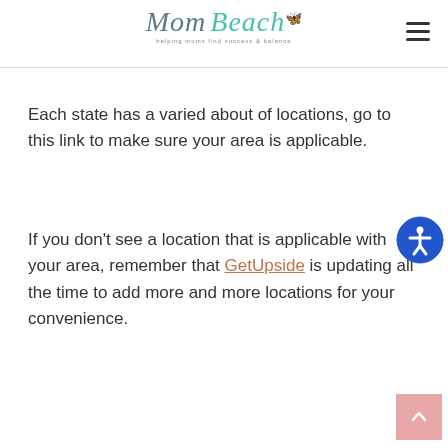Mom Beach — helping moms find success & balance
Each state has a varied about of locations, go to this link to make sure your area is applicable.
If you don't see a location that is applicable with your area, remember that GetUpside is updating all the time to add more and more locations for your convenience.